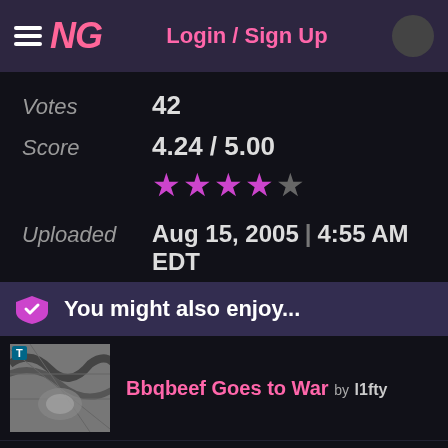NG Login / Sign Up
Votes 42
Score 4.24 / 5.00
Uploaded Aug 15, 2005 | 4:55 AM EDT
You might also enjoy...
Bbqbeef Goes to War by l1fty
Bbqbeef Goes Deaf by l1fty